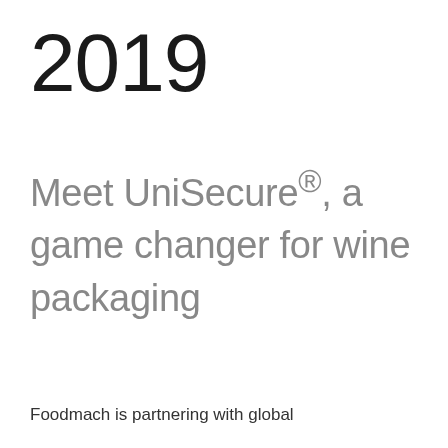2019
Meet UniSecure®, a game changer for wine packaging
Foodmach is partnering with global